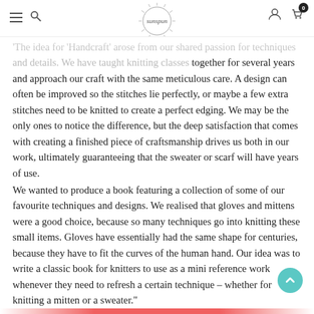sunspun — navigation header with hamburger, search, logo, account, cart (0)
tween Helga Isager and Helga Jóna Þórunnardóttir and in the foreword they write:
'The idea for 'Handcraft' arose from our shared passion for techniques and details. We have taught knitting classes together for several years and approach our craft with the same meticulous care. A design can often be improved so the stitches lie perfectly, or maybe a few extra stitches need to be knitted to create a perfect edging. We may be the only ones to notice the difference, but the deep satisfaction that comes with creating a finished piece of craftsmanship drives us both in our work, ultimately guaranteeing that the sweater or scarf will have years of use.
We wanted to produce a book featuring a collection of some of our favourite techniques and designs. We realised that gloves and mittens were a good choice, because so many techniques go into knitting these small items. Gloves have essentially had the same shape for centuries, because they have to fit the curves of the human hand. Our idea was to write a classic book for knitters to use as a mini reference work whenever they need to refresh a certain technique – whether for knitting a mitten or a sweater."